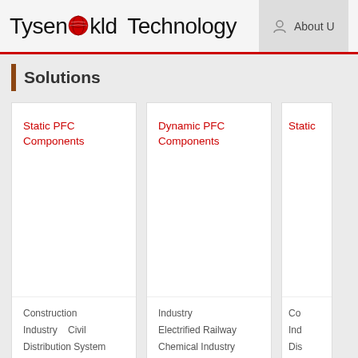Tysenokld Technology  About U
Solutions
[Figure (screenshot): Card: Static PFC Components with categories: Construction, Industry, Civil, Distribution System]
[Figure (screenshot): Card: Dynamic PFC Components with categories: Industry, Electrified Railway, Chemical Industry]
[Figure (screenshot): Card: Static (partial, cropped)]
Tysen-kld
About Us
Company Profile
Human Resource
Talent Development
Company P
Power Tech